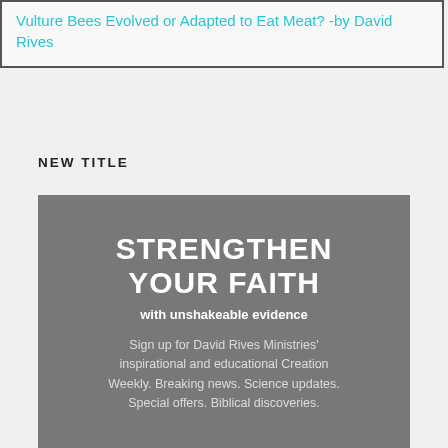Vulture Bees Evolved or Adapted to Eat Meat? -by David Rives
NEW TITLE
[Figure (infographic): Gray promotional box with large white bold uppercase text 'STRENGTHEN YOUR FAITH', subtitle 'with unshakeable evidence', and body text about signing up for David Rives Ministries' Creation Weekly newsletter.]
Sign up for David Rives Ministries' inspirational and educational Creation Weekly. Breaking news. Science updates. Special offers. Biblical discoveries.